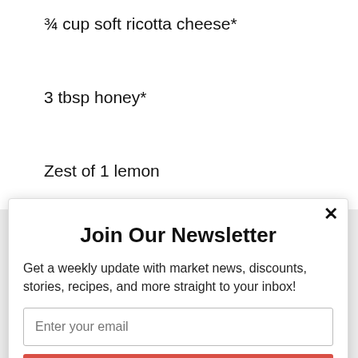¾ cup soft ricotta cheese*
3 tbsp honey*
Zest of 1 lemon
Join Our Newsletter
Get a weekly update with market news, discounts, stories, recipes, and more straight to your inbox!
Enter your email
Subscribe
powered by MailMunch